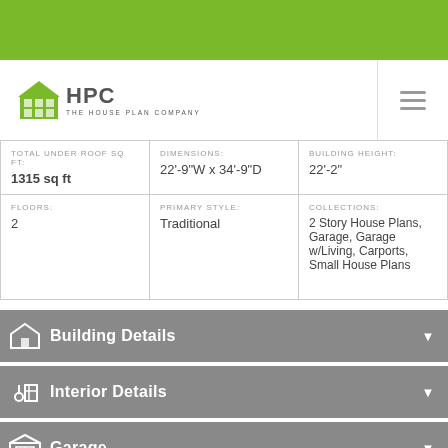[Figure (logo): HPC The House Plan Company logo with green house icon]
| TOTAL UNDER ROOF SQ FT: | DIMENSIONS: | BUILDING HEIGHT: |
| --- | --- | --- |
| 1315 sq ft | 22'-9"W x 34'-9"D | 22'-2" |
| FLOORS: 2 | PRIMARY STYLE: Traditional | COLLECTIONS: 2 Story House Plans, Garage, Garage w/Living, Carports, Small House Plans |
Building Details
Interior Details
Garage
What's In The Plans?